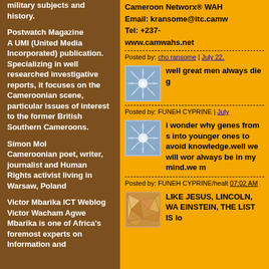military subjects and history.
Postwatch Magazine A UMI (United Media Incorporated) publication. Specializing in well researched investigative reports, it focuses on the Cameroonian scene, particular issues of interest to the former British Southern Cameroons.
Simon Mol Cameroonian poet, writer, journalist and Human Rights activist living in Warsaw, Poland
Victor Mbarika ICT Weblog Victor Wacham Agwe Mbarika is one of Africa's foremost experts on Information and
Cameroon Networx® WAH
Email: kransome@itc.camw
Tel: +237-
www.camwahs.net
Posted by: cho ransome | July 22,
[Figure (illustration): Blue/grey geometric snowflake pattern avatar icon]
well great men always die g
Posted by: FUNEH CYPRINE | July
[Figure (illustration): Blue/grey geometric snowflake pattern avatar icon]
i wonder why genes from s into younger ones to avoid knowledge.well we will wor always be in my mind.we m
Posted by: FUNEH CYPRINE/healt 07:02 AM
[Figure (illustration): Orange and tan geometric abstract avatar icon]
LIKE JESUS, LINCOLN, WA EINSTEIN, THE LIST IS lo